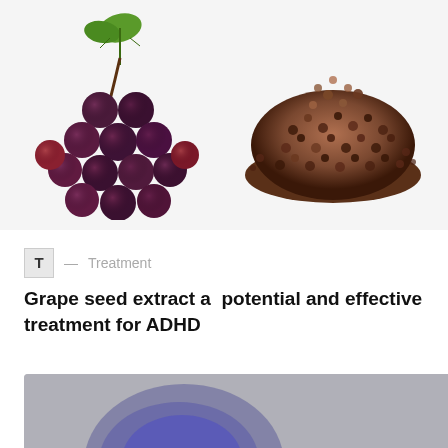[Figure (photo): Photo of red/purple grapes with a green leaf on the left side and a pile of dark grape seeds on the right side, both on a white background]
T — Treatment
Grape seed extract a  potential and effective treatment for ADHD
[Figure (photo): Partial photo showing a grey/purple rounded device on a grey background, cropped at the bottom of the page]